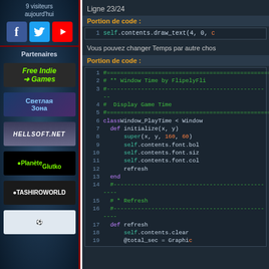9 visiteurs aujourd'hui
[Figure (illustration): Social media icons: Facebook (blue), Twitter (blue), YouTube (red)]
Partenaires
[Figure (illustration): Free Indie Games banner]
[Figure (illustration): Svetlaya Zona banner]
[Figure (illustration): HELLSOFT.NET banner]
[Figure (illustration): Planète Glutko banner]
[Figure (illustration): Tashiro World banner]
[Figure (illustration): Unnamed partner banner with ball character]
Ligne 23/24
Portion de code :
1  self.contents.draw_text(4, 0, c
Vous pouvez changer Temps par autre chos
Portion de code :
Code block lines 1-19